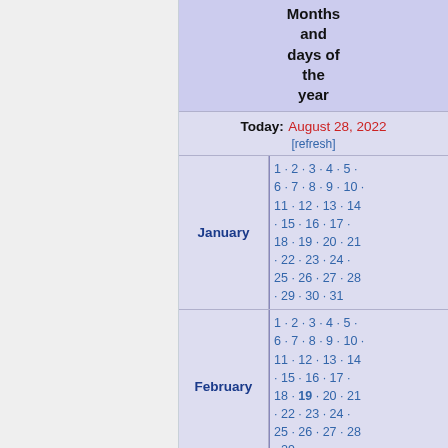Months and days of the year
Today: August 28, 2022 [refresh]
| Month | Days |
| --- | --- |
| January | 1 · 2 · 3 · 4 · 5 · 6 · 7 · 8 · 9 · 10 · 11 · 12 · 13 · 14 · 15 · 16 · 17 · 18 · 19 · 20 · 21 · 22 · 23 · 24 · 25 · 26 · 27 · 28 · 29 · 30 · 31 |
| February | 1 · 2 · 3 · 4 · 5 · 6 · 7 · 8 · 9 · 10 · 11 · 12 · 13 · 14 · 15 · 16 · 17 · 18 · 19 · 20 · 21 · 22 · 23 · 24 · 25 · 26 · 27 · 28 · 29 |
| March (partial) | 1 · 2 · 3 · 4 · 5 ... |